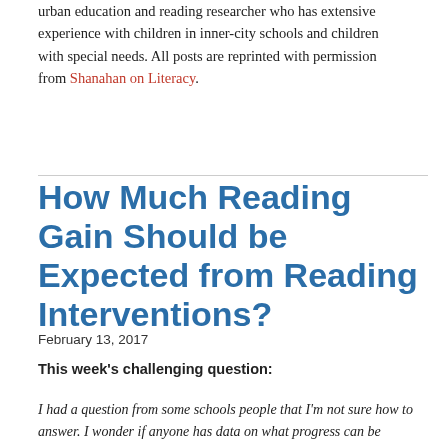urban education and reading researcher who has extensive experience with children in inner-city schools and children with special needs. All posts are reprinted with permission from Shanahan on Literacy.
How Much Reading Gain Should be Expected from Reading Interventions?
February 13, 2017
This week's challenging question:
I had a question from some schools people that I'm not sure how to answer. I wonder if anyone has data on what progress can be